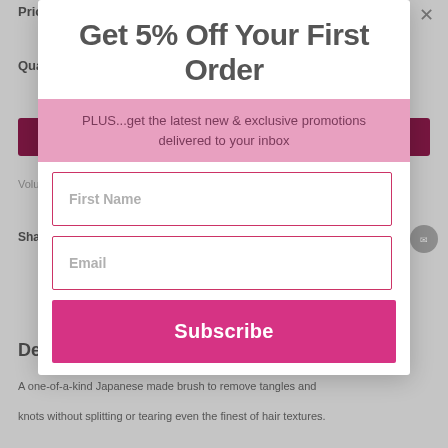Price:
$30
Quantity:
Get 5% Off Your First Order
PLUS...get the latest new & exclusive promotions delivered to your inbox
Volume discount price will be reflected at cart page
Share this product
[Figure (other): First Name input field with pink border]
[Figure (other): Email input field with pink border]
Description
[Figure (other): Subscribe button in pink/magenta]
A one-of-a-kind Japanese made brush to remove tangles and knots without splitting or tearing even the finest of hair textures.